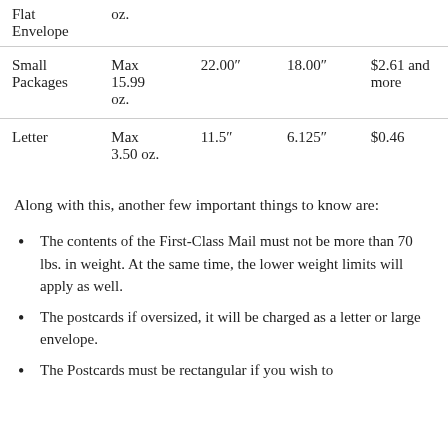| Type | Max Weight | Max Length | Max Height | Price |
| --- | --- | --- | --- | --- |
| Flat Envelope | oz. |  |  |  |
| Small Packages | Max 15.99 oz. | 22.00" | 18.00" | $2.61 and more |
| Letter | Max 3.50 oz. | 11.5" | 6.125" | $0.46 |
Along with this, another few important things to know are:
The contents of the First-Class Mail must not be more than 70 lbs. in weight. At the same time, the lower weight limits will apply as well.
The postcards if oversized, it will be charged as a letter or large envelope.
The Postcards must be rectangular if you wish to